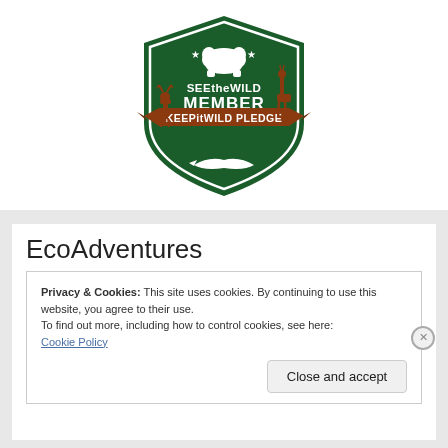[Figure (logo): SEEtheWILD MEMBER KEEPitWILD PLEDGE badge/shield logo in dark green and brown with wildlife animals (bear, moose, giraffe, dolphin) and stars]
EcoAdventures
Privacy & Cookies: This site uses cookies. By continuing to use this website, you agree to their use.
To find out more, including how to control cookies, see here:
Cookie Policy
Close and accept